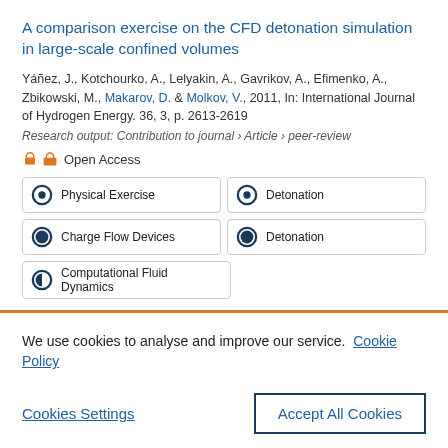A comparison exercise on the CFD detonation simulation in large-scale confined volumes
Yáñez, J., Kotchourko, A., Lelyakin, A., Gavrikov, A., Efimenko, A., Zbikowski, M., Makarov, D. & Molkov, V., 2011, In: International Journal of Hydrogen Energy. 36, 3, p. 2613-2619
Research output: Contribution to journal › Article › peer-review
Open Access
Physical Exercise
Detonation
Charge Flow Devices
Detonation
Computational Fluid Dynamics
We use cookies to analyse and improve our service. Cookie Policy
Cookies Settings
Accept All Cookies